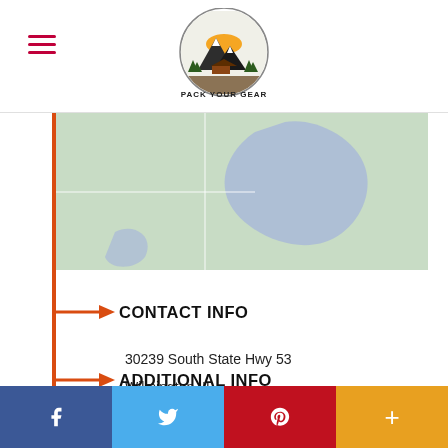Pack Your Gear
[Figure (map): Partial map screenshot showing a green/teal land area with a blue lake shape in the center]
CONTACT INFO
30239 South State Hwy 53
Wilmington, IL
60481
ADDITIONAL INFO
f  (Facebook)  |  (Twitter)  |  (Pinterest)  |  +